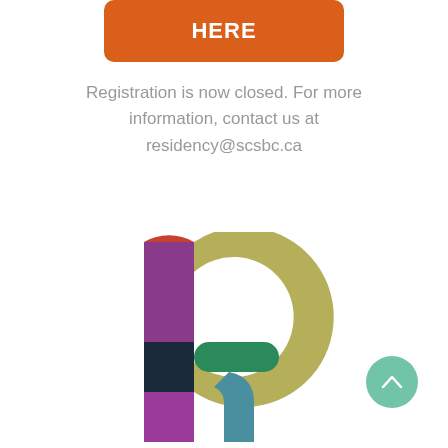[Figure (other): Orange rounded rectangle button with white text 'REGISTER HERE' (partially visible at top)]
Registration is now closed. For more information, contact us at residency@scsbc.ca
[Figure (logo): Colorful letter R logo made of geometric segments: red arc top-left, olive/yellow-green large C-shaped arc, purple vertical bar, dark navy/black square, teal/green horizontal bar, teal curved leg, purple lower vertical stem]